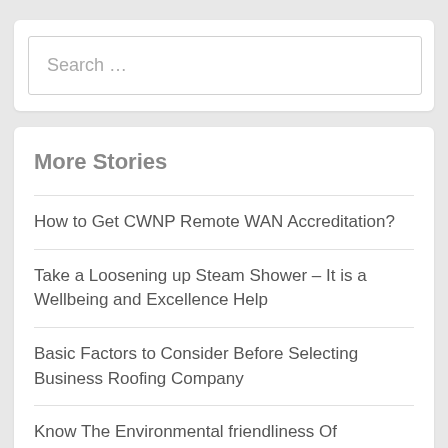Search …
More Stories
How to Get CWNP Remote WAN Accreditation?
Take a Loosening up Steam Shower – It is a Wellbeing and Excellence Help
Basic Factors to Consider Before Selecting Business Roofing Company
Know The Environmental friendliness Of Menstrual cup